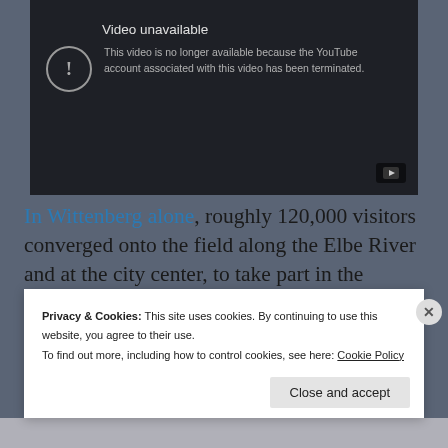[Figure (screenshot): YouTube 'Video unavailable' error screen on dark background. Shows an exclamation mark icon in a circle, bold title 'Video unavailable', and message: 'This video is no longer available because the YouTube account associated with this video has been terminated.' A YouTube play button icon appears in the bottom right corner.]
In Wittenberg alone, roughly 120,000 visitors converged onto the field along the Elbe River and at the city center, to take part in the evening
Privacy & Cookies: This site uses cookies. By continuing to use this website, you agree to their use.
To find out more, including how to control cookies, see here: Cookie Policy
Close and accept